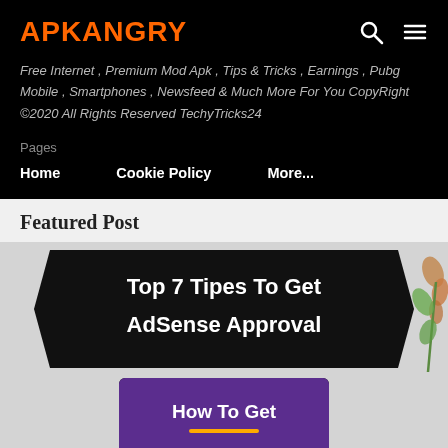APKANGRY
Free Internet , Premium Mod Apk , Tips & Tricks , Earnings , Pubg Mobile , Smartphones , Newsfeed & Much More For You CopyRight ©2020 All Rights Reserved TechyTricks24
Pages
Home
Cookie Policy
More...
Featured Post
[Figure (illustration): Featured post thumbnail image showing a banner ribbon with text 'Top 7 Tipes To Get AdSense Approval' and a laptop screen below showing 'How To Get' with decorative flowers on the right side.]